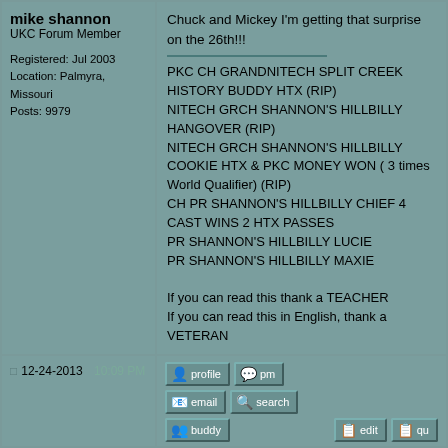mike shannon
UKC Forum Member

Registered: Jul 2003
Location: Palmyra, Missouri
Posts: 9979
Chuck and Mickey I'm getting that surprise on the 26th!!!

PKC CH GRANDNITECH SPLIT CREEK HISTORY BUDDY HTX (RIP)
NITECH GRCH SHANNON'S HILLBILLY HANGOVER (RIP)
NITECH GRCH SHANNON'S HILLBILLY COOKIE HTX & PKC MONEY WON ( 3 times World Qualifier) (RIP)
CH PR SHANNON'S HILLBILLY CHIEF 4 CAST WINS 2 HTX PASSES
PR SHANNON'S HILLBILLY LUCIE
PR SHANNON'S HILLBILLY MAXIE

If you can read this thank a TEACHER
If you can read this in English, thank a VETERAN

www.freewebs.com/shannonshowmekennels

United States Army Retired

Report this post to a moderator | IP: Log
12-24-2013 10:09 PM